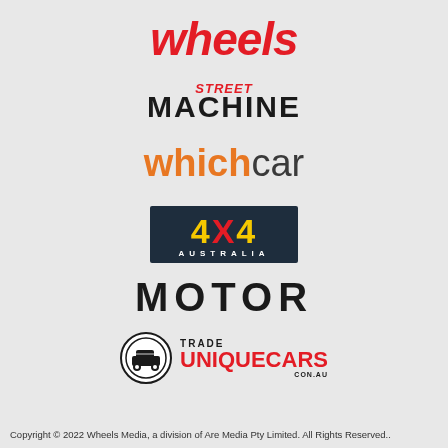[Figure (logo): wheels magazine logo in red italic bold font]
[Figure (logo): Street Machine logo with red italic 'Street' above bold black 'MACHINE']
[Figure (logo): whichcar logo with orange 'which' and dark 'car']
[Figure (logo): 4X4 Australia logo on dark navy background with yellow 4X4 and red X and white AUSTRALIA text]
[Figure (logo): MOTOR logo in large bold black uppercase letters]
[Figure (logo): Trade Unique Cars logo with circular car icon and red UNIQUECARS text]
Copyright © 2022 Wheels Media, a division of Are Media Pty Limited. All Rights Reserved..